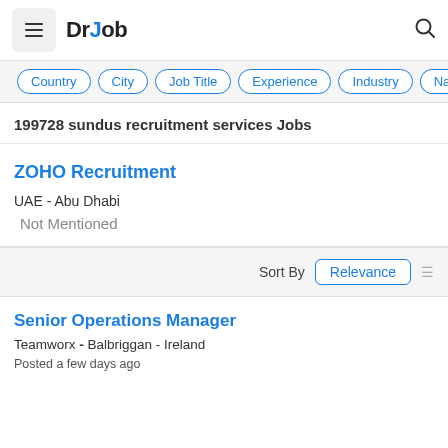DrJob
Country
City
Job Title
Experience
Industry
Na
199728 sundus recruitment services Jobs
ZOHO Recruitment
UAE - Abu Dhabi
Not Mentioned
Sort By  Relevance
Senior Operations Manager
Teamworx - Balbriggan - Ireland
Posted a few days ago